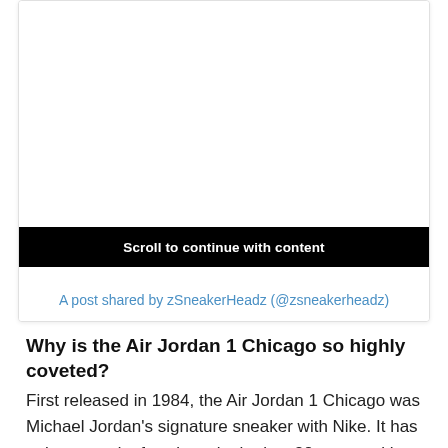[Figure (other): Embedded social media post card with white background, showing a 'Scroll to continue with content' black bar and a link to an Instagram post by zSneakerHeadz]
A post shared by zSneakerHeadz (@zsneakerheadz)
Why is the Air Jordan 1 Chicago so highly coveted?
First released in 1984, the Air Jordan 1 Chicago was Michael Jordan's signature sneaker with Nike. It has only retro-ed a few times in the last 38 years, with the